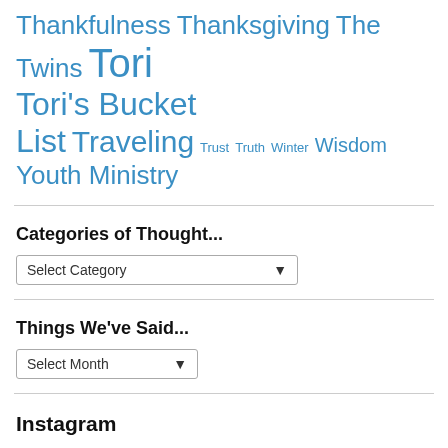Thankfulness Thanksgiving The Twins Tori Tori's Bucket List Traveling Trust Truth Winter Wisdom Youth Ministry
Categories of Thought...
Select Category
Things We've Said...
Select Month
Instagram
[Figure (photo): Two Instagram photo thumbnails - left is a light grey/white gradient photo, right is an aerial or landscape photo with green and brown tones]